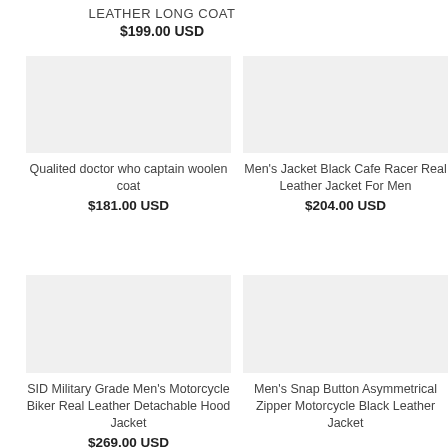LEATHER LONG COAT
$199.00 USD
[Figure (photo): Product image placeholder for Qualited doctor who captain woolen coat]
Qualited doctor who captain woolen coat
$181.00 USD
[Figure (photo): Product image placeholder for Men's Jacket Black Cafe Racer Real Leather Jacket For Men]
Men's Jacket Black Cafe Racer Real Leather Jacket For Men
$204.00 USD
[Figure (photo): Product image placeholder for SID Military Grade Men's Motorcycle Biker Real Leather Detachable Hood Jacket]
SID Military Grade Men's Motorcycle Biker Real Leather Detachable Hood Jacket
$269.00 USD
[Figure (photo): Product image placeholder for Men's Snap Button Asymmetrical Zipper Motorcycle Black Leather Jacket]
Men's Snap Button Asymmetrical Zipper Motorcycle Black Leather Jacket